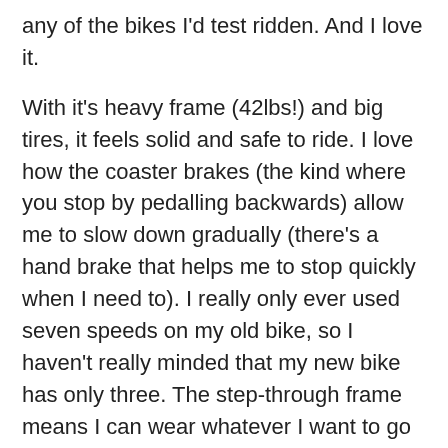any of the bikes I'd test ridden. And I love it.
With it's heavy frame (42lbs!) and big tires, it feels solid and safe to ride. I love how the coaster brakes (the kind where you stop by pedalling backwards) allow me to slow down gradually (there's a hand brake that helps me to stop quickly when I need to). I really only ever used seven speeds on my old bike, so I haven't really minded that my new bike has only three. The step-through frame means I can wear whatever I want to go cycling (and means that I have fewer excuses not to ride). And the "sit up and beg" style of riding means no pain and whole new way of taking in the world.